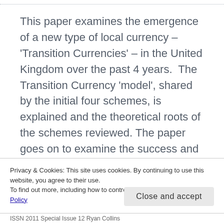This paper examines the emergence of a new type of local currency – 'Transition Currencies' – in the United Kingdom over the past 4 years.  The Transition Currency 'model', shared by the initial four schemes, is explained and the theoretical roots of the schemes reviewed. The paper goes on to examine the success and limitations of the currencies and reflects on potential future developments and how the Transition currencies might upscale and deliver additional social, economic and environmental objectives.
Privacy & Cookies: This site uses cookies. By continuing to use this website, you agree to their use.
To find out more, including how to control cookies, see here: Cookie Policy
ISSN 2011 Special Issue 12 Ryan Collins